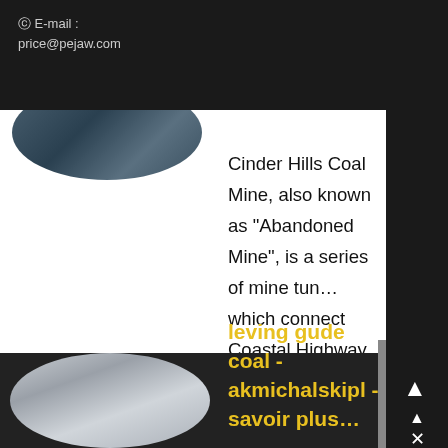E-mail : price@pejaw.com
Cinder Hills Coal Mine, also known as "Abandoned Mine", is a series of mine tunnels which connect Coastal Highway and Pleasant Valley This mine has three levels: in Survival mode these levels are separate areas, and in Wintermute all three mine sections are interconnected The Upper Level of the mine connects northern Coastal Highway (near Abandoned Lookout) to southern Pleasant Valley ,..
[Figure (photo): Circular cropped photo at top left showing a dark interior scene]
[Figure (photo): Circular cropped photo at bottom left showing a building exterior]
leving gude coal - akmichalskipl - savoir plus